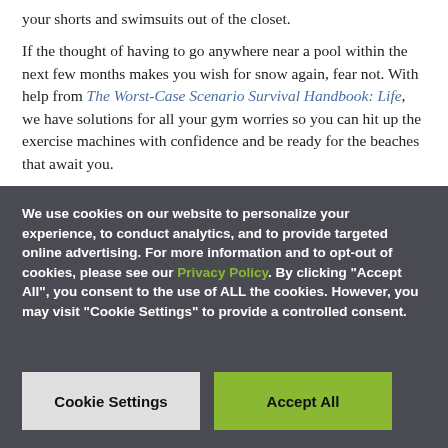your shorts and swimsuits out of the closet.
If the thought of having to go anywhere near a pool within the next few months makes you wish for snow again, fear not. With help from The Worst-Case Scenario Survival Handbook: Life, we have solutions for all your gym worries so you can hit up the exercise machines with confidence and be ready for the beaches that await you.
We use cookies on our website to personalize your experience, to conduct analytics, and to provide targeted online advertising. For more information and to opt-out of cookies, please see our Privacy Policy. By clicking "Accept All", you consent to the use of ALL the cookies. However, you may visit "Cookie Settings" to provide a controlled consent.
Cookie Settings
Accept All